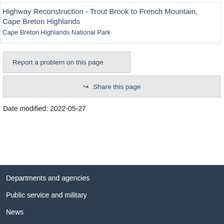Highway Reconstruction - Trout Brook to French Mountain, Cape Breton Highlands
Cape Breton Highlands National Park
Report a problem on this page
Share this page
Date modified: 2022-05-27
Departments and agencies
Public service and military
News